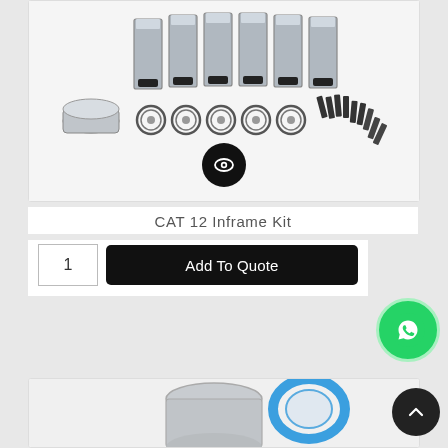[Figure (photo): Engine inframe kit parts laid out: six cylinder liners standing upright, pistons, rings, seals, and fasteners on a white background]
CAT 12 Inframe Kit
1
Add To Quote
[Figure (photo): Partial image of a cylinder liner with blue gasket/seal, beginning of second product card]